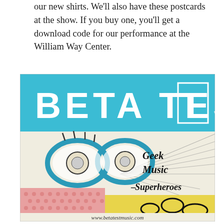our new shirts. We'll also have these postcards at the show. If you buy one, you'll get a download code for our performance at the William Way Center.
[Figure (illustration): Beta Test postcard image. Top teal/cyan banner with white bold text reading 'BETA TEST' with the T in a outlined box. Below is a comic-book style illustration showing a person with glasses (drawn in blue tones) on the left, speed lines radiating in the background, and text on the right reading 'Geek Music Superheroes' in italic. Bottom left shows a pink halftone-dot face portion and bottom right is yellow with black oval bubble shapes. URL 'www.betatestmusic.com' appears at the bottom.]